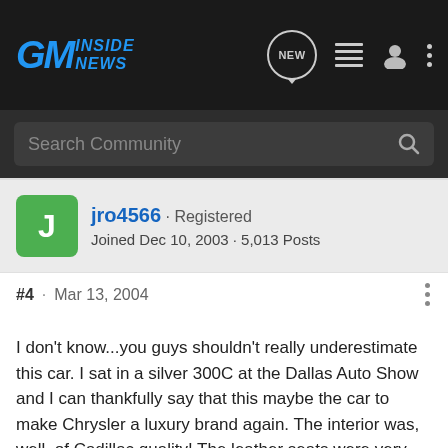GM Inside News
Search Community
jro4566 · Registered
Joined Dec 10, 2003 · 5,013 Posts
#4 · Mar 13, 2004
I don't know...you guys shouldn't really underestimate this car. I sat in a silver 300C at the Dallas Auto Show and I can thankfully say that this maybe the car to make Chrysler a luxury brand again. The interior was, well, of Cadillac quality! The leather seats were very supportive, the dash is very clean with easy to reach controls, and everyone there was looking at the HEMI. :lol: Hehe, DC is really riding the HEMI name!

I'm going to get a new car this year after my G35 lease expires and I'm seriously considering the new 300C (V8, not V6